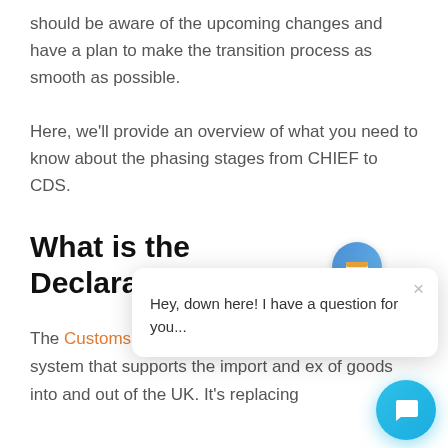should be aware of the upcoming changes and have a plan to make the transition process as smooth as possible.
Here, we'll provide an overview of what you need to know about the phasing stages from CHIEF to CDS.
What is the Customs Declaration...
The Customs Declaration Service (CDS) is a system that supports the import and export of goods into and out of the UK. It's replacing
[Figure (illustration): Chat widget popup with avatar icon showing a card/credentials graphic, close button (×), and message text: 'Hey, down here! I have a question for you...' along with a teal circular chat button in the bottom-right corner.]